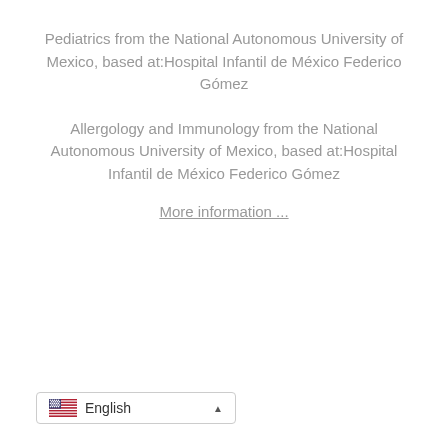Pediatrics from the National Autonomous University of Mexico, based at:Hospital Infantil de México Federico Gómez
Allergology and Immunology from the National Autonomous University of Mexico, based at:Hospital Infantil de México Federico Gómez
More information ...
– Dr. Juan Manuel Montiel Herrera
English
EXPERTS IN NUTRITION